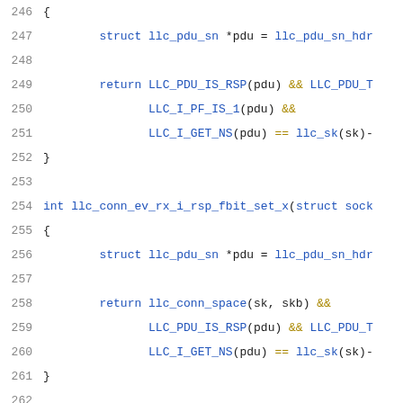[Figure (screenshot): Source code listing in C showing functions llc_conn_ev_rx_i_rsp_fbit_set_x and llc_conn_ev_rx_i_rsp_fbit_set_0_unexpd_ns, lines 246-266]